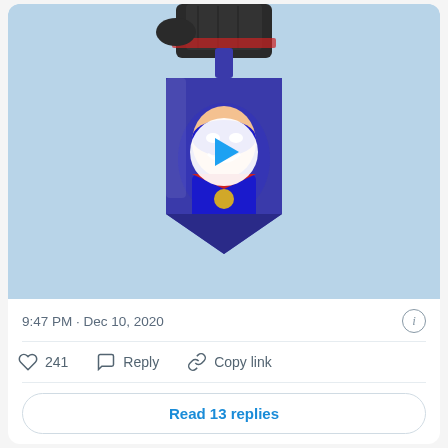[Figure (photo): A dreidel decorated with a superhero character image being held by a gloved hand. A video play button overlay is shown in the center. The background is light blue.]
9:47 PM · Dec 10, 2020
241  Reply  Copy link
Read 13 replies